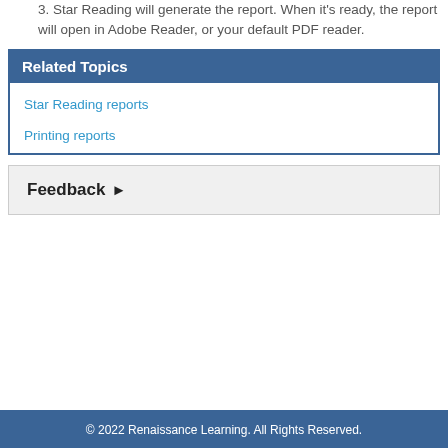3. Star Reading will generate the report. When it's ready, the report will open in Adobe Reader, or your default PDF reader.
Related Topics
Star Reading reports
Printing reports
Feedback ▶
© 2022 Renaissance Learning. All Rights Reserved.